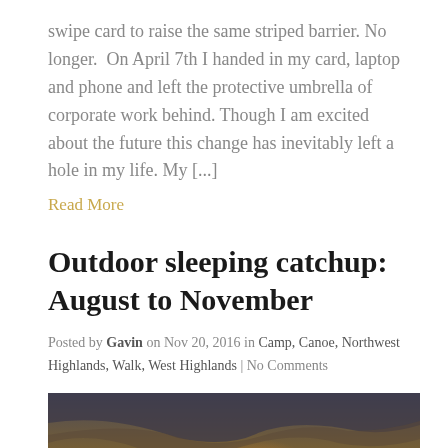swipe card to raise the same striped barrier. No longer. On April 7th I handed in my card, laptop and phone and left the protective umbrella of corporate work behind. Though I am excited about the future this change has inevitably left a hole in my life. My [...]
Read More
Outdoor sleeping catchup: August to November
Posted by Gavin on Nov 20, 2016 in Camp, Canoe, Northwest Highlands, Walk, West Highlands | No Comments
[Figure (photo): Sunset over a loch with mountains in the background and a green tent in the foreground]